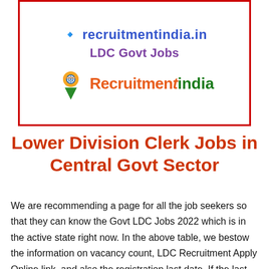[Figure (logo): RecruitmentIndia.in logo with map pin icon, URL text at top, 'LDC Govt Jobs' subtitle, and colored brand logo]
Lower Division Clerk Jobs in Central Govt Sector
We are recommending a page for all the job seekers so that they can know the Govt LDC Jobs 2022 which is in the active state right now. In the above table, we bestow the information on vacancy count, LDC Recruitment Apply Online link, and also the registration last date. If the last date is closed,